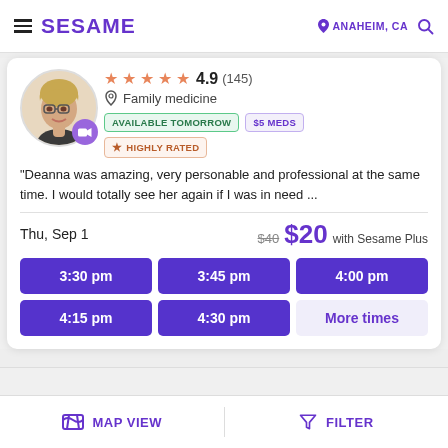SESAME | ANAHEIM, CA
[Figure (photo): Doctor profile photo of a woman with glasses and blonde hair, circular avatar with video camera badge]
★★★★★ 4.9 (145)
Family medicine
AVAILABLE TOMORROW
$5 MEDS
★ HIGHLY RATED
"Deanna was amazing, very personable and professional at the same time. I would totally see her again if I was in need ...
Thu, Sep 1
$40 $20 with Sesame Plus
3:30 pm
3:45 pm
4:00 pm
4:15 pm
4:30 pm
More times
MAP VIEW | FILTER